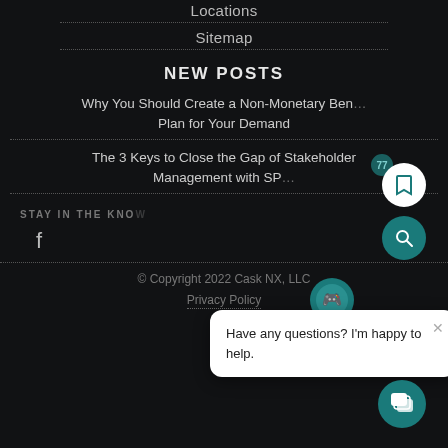Locations
Sitemap
NEW POSTS
Why You Should Create a Non-Monetary Benefit Plan for Your Demand
The 3 Keys to Close the Gap of Stakeholder Management with SP...
STAY IN THE KNOW
© Copyright 2022 Cask NX, LLC
Privacy Policy